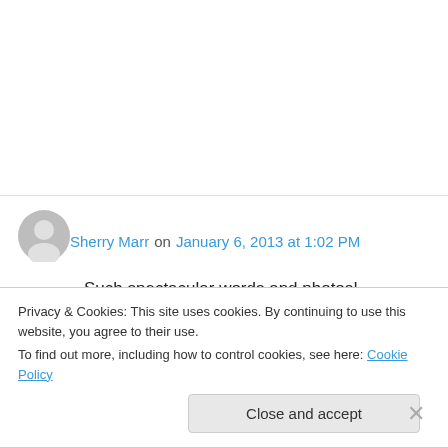[Figure (illustration): Gray user avatar icon (silhouette of a person in a circle)]
Sherry Marr on January 6, 2013 at 1:02 PM
Such spectacular words and photos! Incredibly beautiful. In the top photo, the cloud looks like some sort of giant angel – or a plane. It must be incredibly beautiful in the desert.
★ Like
Privacy & Cookies: This site uses cookies. By continuing to use this website, you agree to their use.
To find out more, including how to control cookies, see here: Cookie Policy
Close and accept